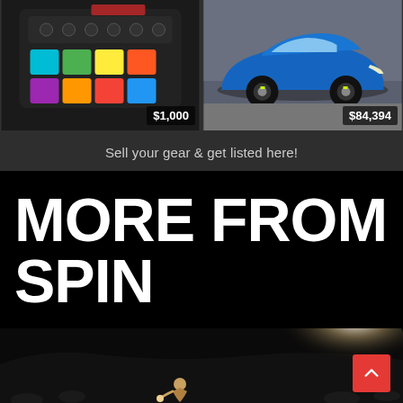[Figure (photo): Music production controller/pad with colorful RGB pads, price tag $1,000]
[Figure (photo): Blue Porsche Panamera car, price tag $84,394]
Sell your gear & get listed here!
MORE FROM SPIN
[Figure (photo): Concert/stadium performance photo with spotlight and performer on stage, dark background]